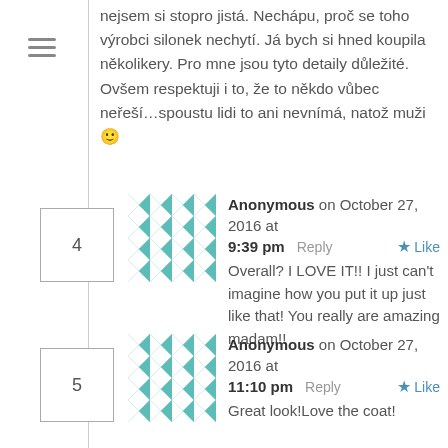nejsem si stopro jistá. Nechápu, proč se toho výrobci silonek nechytí. Já bych si hned koupila několikery. Pro mne jsou tyto detaily důležité. Ovšem respektuji i to, že to někdo vůbec neřeší…spoustu lidi to ani nevnímá, natož muži 🙂
Comment 4: Anonymous on October 27, 2016 at 9:39 pm — Overall? I LOVE IT!! I just can't imagine how you put it up just like that! You really are amazing madam!!
Comment 5: Anonymous on October 27, 2016 at 11:10 pm — Great look!Love the coat!